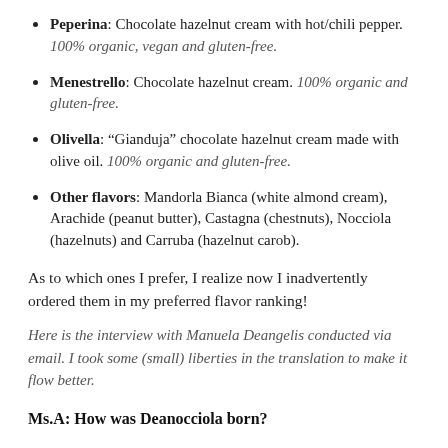Peperina: Chocolate hazelnut cream with hot/chili pepper. 100% organic, vegan and gluten-free.
Menestrello: Chocolate hazelnut cream. 100% organic and gluten-free.
Olivella: “Gianduja” chocolate hazelnut cream made with olive oil. 100% organic and gluten-free.
Other flavors: Mandorla Bianca (white almond cream), Arachide (peanut butter), Castagna (chestnuts), Nocciola (hazelnuts) and Carruba (hazelnut carob).
As to which ones I prefer, I realize now I inadvertently ordered them in my preferred flavor ranking!
Here is the interview with Manuela Deangelis conducted via email. I took some (small) liberties in the translation to make it flow better.
Ms.A: How was Deanocciola born?